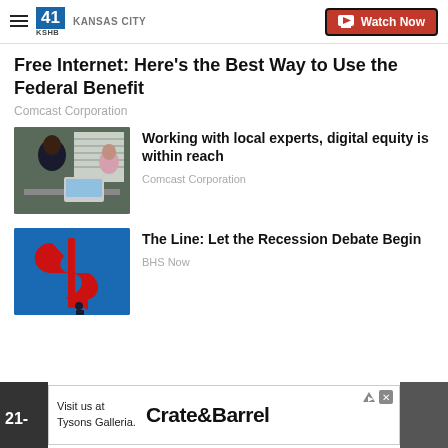41 KSHB KANSAS CITY | Watch Now
Free Internet: Here's the Best Way to Use the Federal Benefit
Comcast Corporation
[Figure (photo): Person sitting at a desk working on a laptop, looking at someone off-frame]
Working with local experts, digital equity is within reach
Comcast Corporation
[Figure (illustration): Blue background with large red dollar sign arrows forming a circular shape, small figure below]
The Line: Let the Recession Debate Begin
BHS Now
[Figure (screenshot): Advertisement banner — Visit us at Tysons Galleria. Crate&Barrel]